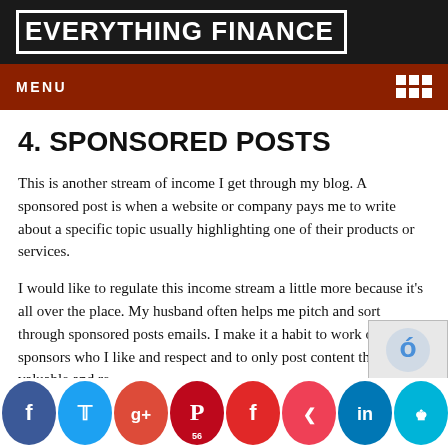EVERYTHING FINANCE
MENU
4. SPONSORED POSTS
This is another stream of income I get through my blog. A sponsored post is when a website or company pays me to write about a specific topic usually highlighting one of their products or services.
I would like to regulate this income stream a little more because it's all over the place. My husband often helps me pitch and sort through sponsored posts emails. I make it a habit to work only with sponsors who I like and respect and to only post content that will be valuable and re[levant to] m[y] re[aders].